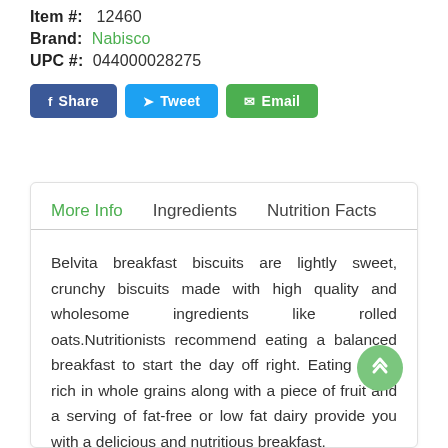Item #: 12460
Brand: Nabisco
UPC #: 044000028275
Share | Tweet | Email (social buttons)
More Info | Ingredients | Nutrition Facts
Belvita breakfast biscuits are lightly sweet, crunchy biscuits made with high quality and wholesome ingredients like rolled oats.Nutritionists recommend eating a balanced breakfast to start the day off right. Eating foods rich in whole grains along with a piece of fruit and a serving of fat-free or low fat dairy provide you with a delicious and nutritious breakfast.